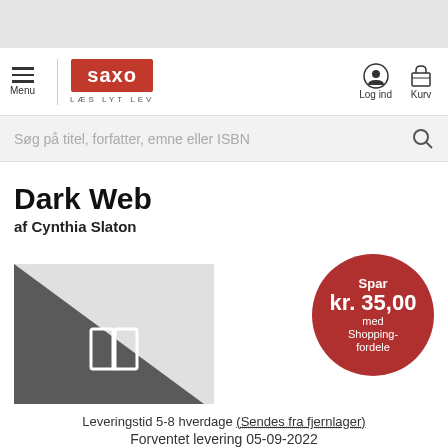[Figure (screenshot): Saxo.com website header with hamburger menu, Saxo logo (red background, white text), LÆS LYT LEV tagline, Log ind and Kurv icons]
Søg på titel, forfatter, emne eller ISBN
Dark Web
af Cynthia Slaton
[Figure (illustration): Book cover placeholder with dark gray triangle and open book icon, plus red circular badge reading Spar kr. 35,00 med Shoppingfordele]
Leveringstid 5-8 hverdage (Sendes fra fjernlager)
Forventet levering 05-09-2022
NORMALPRIS
kr. 354,95